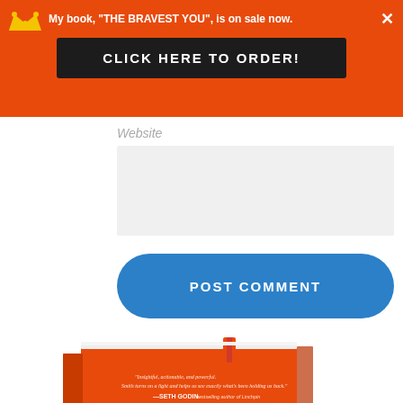[Figure (screenshot): Orange promotional banner with crown icon, text 'My book, THE BRAVEST YOU, is on sale now.' and a dark button 'CLICK HERE TO ORDER!' with an X close button]
Website
[Figure (screenshot): Empty light gray input/text area field]
POST COMMENT
[Figure (photo): Book cover of 'THE BRAVEST YOU' with orange cover, showing partial title text. Includes Seth Godin quote on cover.]